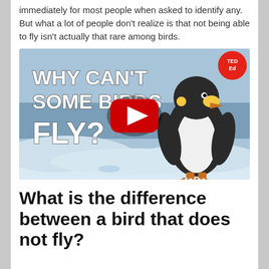immediately for most people when asked to identify any. But what a lot of people don't realize is that not being able to fly isn't actually that rare among birds.
[Figure (screenshot): TED-Ed YouTube video thumbnail showing animated text 'Why Can't Some Birds Fly?' with a cartoon penguin on a snowy background, red YouTube play button in center, TED-Ed logo in top right.]
What is the difference between a bird that does not fly?